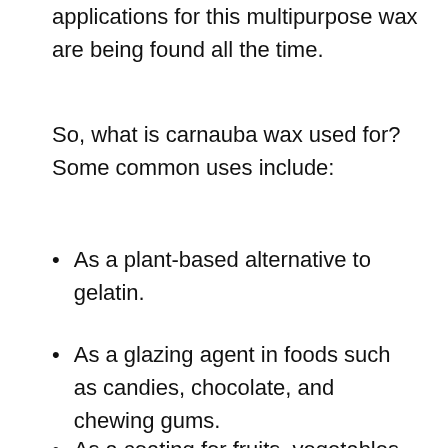applications for this multipurpose wax are being found all the time.
So, what is carnauba wax used for? Some common uses include:
As a plant-based alternative to gelatin.
As a glazing agent in foods such as candies, chocolate, and chewing gums.
As a coating for fruits, vegetables